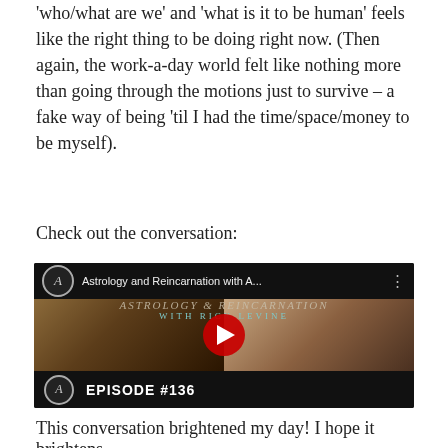'who/what are we' and 'what is it to be human' feels like the right thing to be doing right now. (Then again, the work-a-day world felt like nothing more than going through the motions just to survive – a fake way of being 'til I had the time/space/money to be myself).
Check out the conversation:
[Figure (screenshot): YouTube video thumbnail for 'Astrology and Reincarnation with A...' showing two people in a split screen (an older man with white beard on left, a smiling blonde woman on right), with a red YouTube play button in the center. Header says 'ASTROLOGY & REINCARNATION WITH RICK LEVINE'. Bottom bar shows Episode #136 with a logo.]
This conversation brightened my day! I hope it brightens